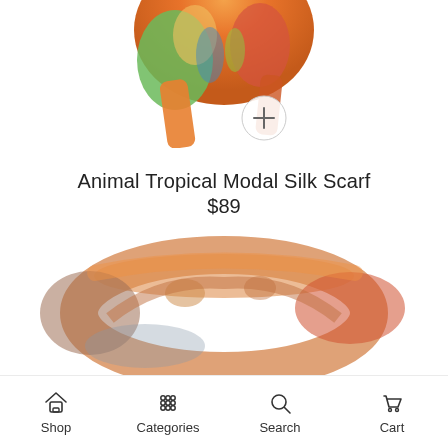[Figure (photo): Partial top view of a colorful tropical animal print modal silk scarf with orange, green and multicolor pattern, with a circular plus button overlay]
Animal Tropical Modal Silk Scarf
$89
or 4 payments of $22.25 with afterpay
[Figure (photo): Bottom portion of a colorful tropical animal print scarf displayed in a folded/loop arrangement showing orange, brown, and teal colors]
Shop  Categories  Search  Cart